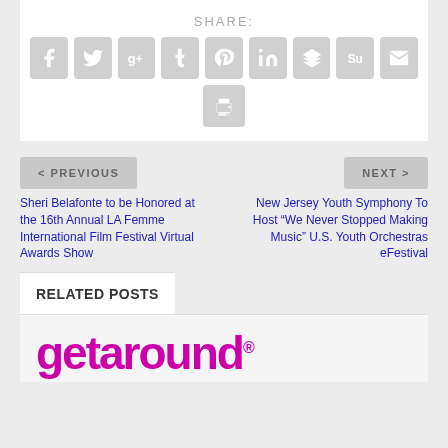SHARE:
[Figure (infographic): Row of social sharing icon buttons: Facebook, Twitter, Google+, Tumblr, Pinterest, LinkedIn, Buffer, StumbleUpon, Email, and a Print button below]
< PREVIOUS
NEXT >
Sheri Belafonte to be Honored at the 16th Annual LA Femme International Film Festival Virtual Awards Show
New Jersey Youth Symphony To Host “We Never Stopped Making Music” U.S. Youth Orchestras eFestival
RELATED POSTS
[Figure (logo): Getaround logo in magenta/purple color with registered trademark symbol]